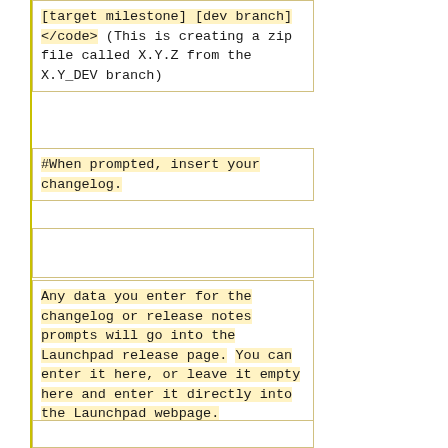[target milestone] [dev branch]</code> (This is creating a zip file called X.Y.Z from the X.Y_DEV branch)
#When prompted, insert your changelog.
Any data you enter for the changelog or release notes prompts will go into the Launchpad release page. You can enter it here, or leave it empty here and enter it directly into the Launchpad webpage.